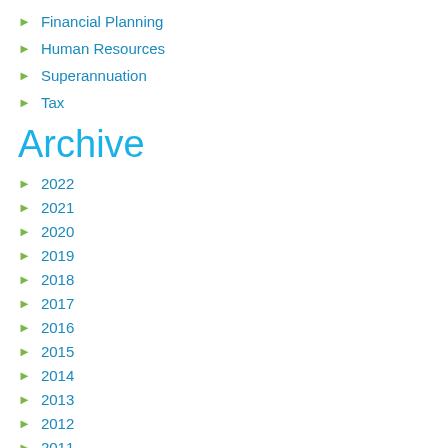Financial Planning
Human Resources
Superannuation
Tax
Archive
2022
2021
2020
2019
2018
2017
2016
2015
2014
2013
2012
2011
2010
2009